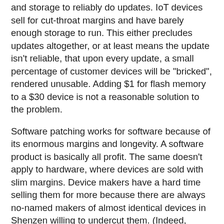and storage to reliably do updates. IoT devices sell for cut-throat margins and have barely enough storage to run. This either precludes updates altogether, or at least means the update isn't reliable, that upon every update, a small percentage of customer devices will be "bricked", rendered unusable. Adding $1 for flash memory to a $30 device is not a reasonable solution to the problem.
Software patching works for software because of its enormous margins and longevity. A software product is basically all profit. The same doesn't apply to hardware, where devices are sold with slim margins. Device makers have a hard time selling them for more because there are always no-named makers of almost identical devices in Shenzen willing to undercut them. (Indeed, looking at Mirai, it appears that was the majority of infected devices, not major brands, but no-named knock-offs).
The document says that device makers need to publish how long the device will be supported. This ignores the economics of this. Devices makers cannot know how long they will support a device. As long as they are selling new